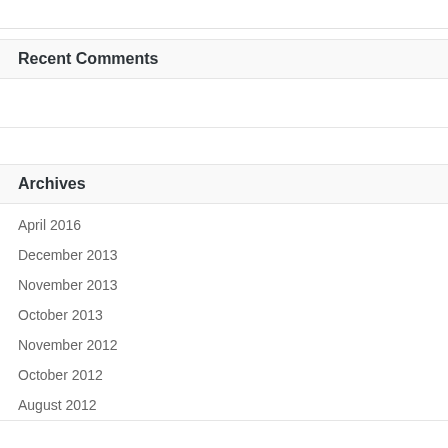Recent Comments
Archives
April 2016
December 2013
November 2013
October 2013
November 2012
October 2012
August 2012